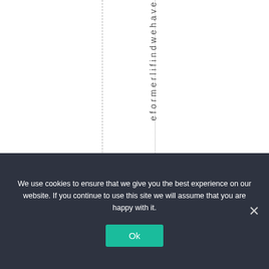[Figure (other): White page area with two dashed/dotted vertical lines and vertically oriented text reading 'eformerlifindwehave']
We use cookies to ensure that we give you the best experience on our website. If you continue to use this site we will assume that you are happy with it.